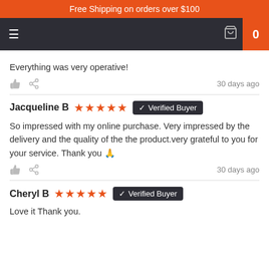Free Shipping on orders over $100
Everything was very operative!
30 days ago
Jacqueline B ★★★★★ ✓ Verified Buyer
So impressed with my online purchase. Very impressed by the delivery and the quality of the the product.very grateful to you for your service. Thank you 🙏
30 days ago
Cheryl B ★★★★★ ✓ Verified Buyer
Love it Thank you.